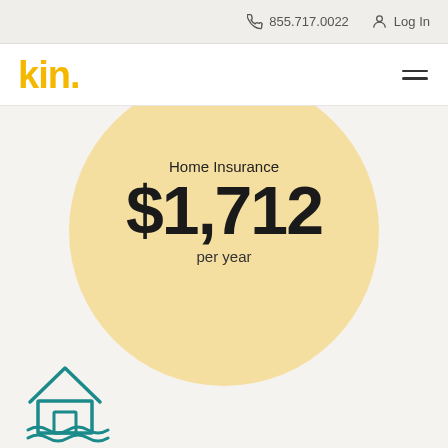855.717.0022   Log In
[Figure (logo): Kin insurance logo in orange/yellow with hamburger menu icon]
[Figure (infographic): Large light yellow circle containing Home Insurance pricing: $1,712 per year]
Home Insurance
$1,712
per year
[Figure (illustration): Teal/green outline house icon with flood water waves at bottom]